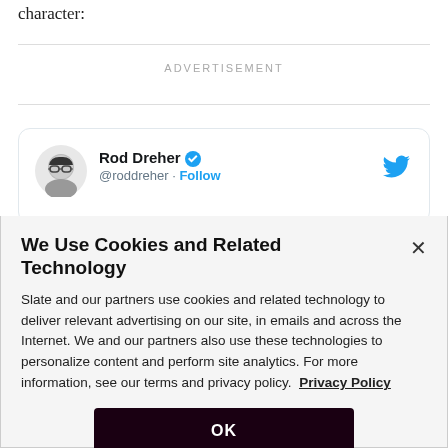character:
ADVERTISEMENT
[Figure (screenshot): Twitter/X embedded card showing Rod Dreher (@roddreher) with verified badge and Follow link, Twitter bird icon top right]
We Use Cookies and Related Technology
Slate and our partners use cookies and related technology to deliver relevant advertising on our site, in emails and across the Internet. We and our partners also use these technologies to personalize content and perform site analytics. For more information, see our terms and privacy policy. Privacy Policy
OK